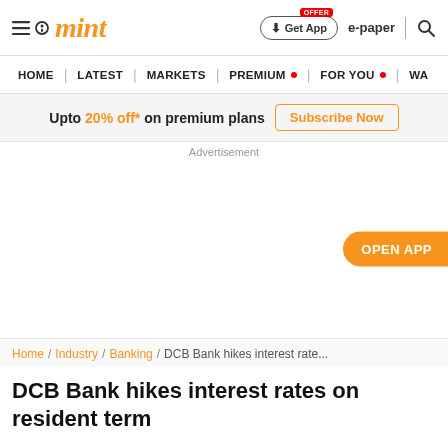mint — Get App | e-paper | search
HOME | LATEST | MARKETS | PREMIUM | FOR YOU | WA
Upto 20% off* on premium plans — Subscribe Now
Advertisement
OPEN APP
Home / Industry / Banking / DCB Bank hikes interest rate...
DCB Bank hikes interest rates on resident term